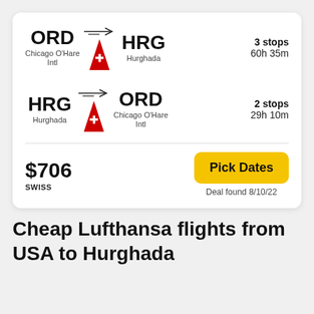[Figure (infographic): Flight deal card for SWISS airline showing ORD to HRG (3 stops, 60h 35m) and HRG to ORD (2 stops, 29h 10m), priced at $706, with Pick Dates button and deal found date 8/10/22]
Cheap Lufthansa flights from USA to Hurghada